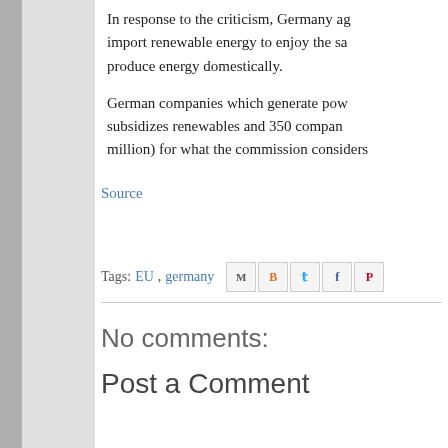In response to the criticism, Germany ag... import renewable energy to enjoy the sa... produce energy domestically.
German companies which generate pow... subsidizes renewables and 350 compan... million) for what the commission considers...
Source
Tags: EU, germany
No comments:
Post a Comment
To continue, please tu...